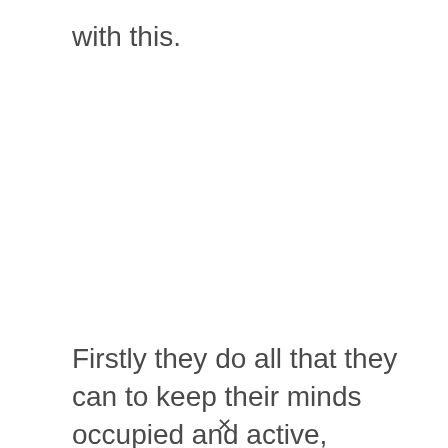with this.
Firstly they do all that they can to keep their minds occupied and active, focusing a